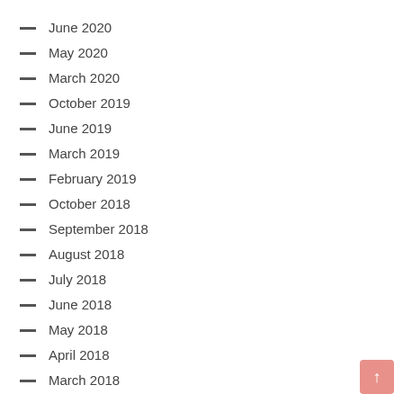June 2020
May 2020
March 2020
October 2019
June 2019
March 2019
February 2019
October 2018
September 2018
August 2018
July 2018
June 2018
May 2018
April 2018
March 2018